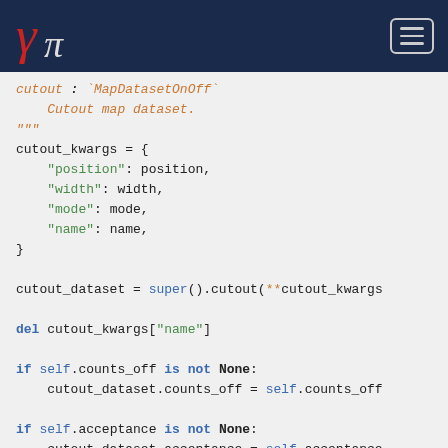γπ navigation header with logo and hamburger menu
cutout : `MapDatasetOnOff`
    Cutout map dataset.
"""
cutout_kwargs = {
    "position": position,
    "width": width,
    "mode": mode,
    "name": name,
}

cutout_dataset = super().cutout(**cutout_kwargs

del cutout_kwargs["name"]

if self.counts_off is not None:
    cutout_dataset.counts_off = self.counts_off

if self.acceptance is not None:
    cutout_dataset.acceptance = self.acceptance

if self.acceptance_off is not None:
    cutout_dataset.acceptance_off = self.accepta

return cutout_dataset